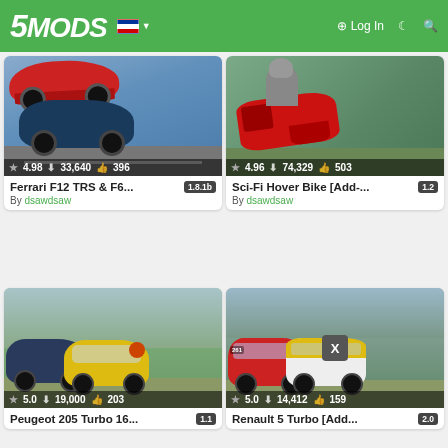5MODS | Log In
[Figure (screenshot): Ferrari F12 TRS and F6 mod card thumbnail showing red Ferrari on top and dark blue Ferrari below on road background. Stats: 4.98 stars, 33,640 downloads, 396 likes.]
Ferrari F12 TRS & F6...
By dsawdsaw
[Figure (screenshot): Sci-Fi Hover Bike mod card thumbnail showing red futuristic hover bike with rider on green terrain. Stats: 4.96 stars, 74,329 downloads, 503 likes.]
Sci-Fi Hover Bike [Add-...
By dsawdsaw
[Figure (screenshot): Peugeot 205 Turbo 16 mod card thumbnail showing dark blue Peugeot and yellow rally Peugeot on dirt terrain. Stats: 5.0 stars, 19,000 downloads, 203 likes.]
Peugeot 205 Turbo 16...
[Figure (screenshot): Renault 5 Turbo mod card thumbnail showing red and yellow rally Renaults on dirt terrain with X overlay. Stats: 5.0 stars, 14,412 downloads, 159 likes.]
Renault 5 Turbo [Add...